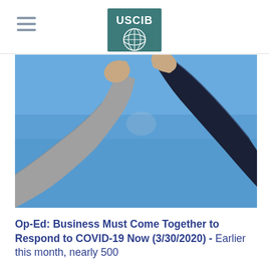USCIB
[Figure (photo): Two people doing an elbow bump greeting against a blue sky background, one wearing a grey suit and the other wearing a dark navy suit jacket.]
Op-Ed: Business Must Come Together to Respond to COVID-19 Now (3/30/2020) - Earlier this month, nearly 500